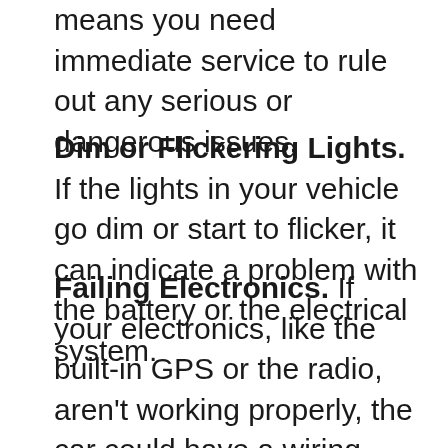means you need immediate service to rule out any serious or dangerous issues.
Dim or Flickering Lights. If the lights in your vehicle go dim or start to flicker, it can indicate a problem with the battery or the electrical system.
Failing Electronics. If your electronics, like the built-in GPS or the radio, aren't working properly, the car could have a wiring issue or blown fuse. Our team can find the root of the problem to get the system working as it should.
Check Engine Light. If the check engine light comes on, it could be due to a sensor